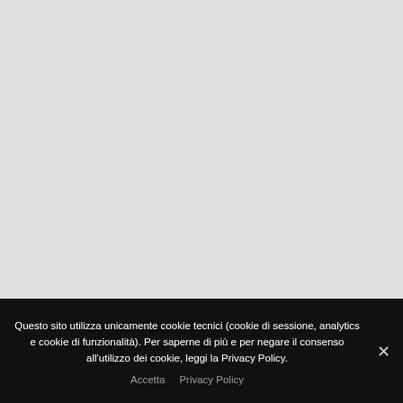[Figure (other): Large light grey blank area occupying the upper portion of the page, likely a placeholder for a website screenshot or content area.]
Questo sito utilizza unicamente cookie tecnici (cookie di sessione, analytics e cookie di funzionalità). Per saperne di più e per negare il consenso all'utilizzo dei cookie, leggi la Privacy Policy.
Accetta   Privacy Policy